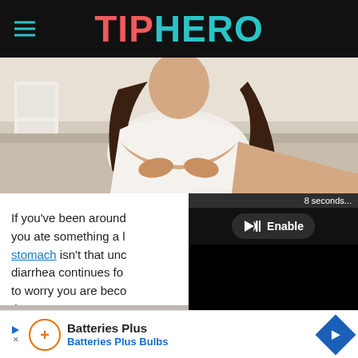TIPHERO
[Figure (photo): Woman sitting on a couch holding her stomach in pain, wearing a white top, with long dark curly hair. Background shows a room with white furniture.]
Nikodash via Shutterstock
If you’ve been around long enough, you ate something a little off, upset stomach isn’t that uncommon. But if diarrhea continues for more than a few days, to worry you are becoming dehydrated or rush to the ER.
Ches
[Figure (screenshot): Video player overlay showing Enable audio button and Loading indicator with 8 seconds countdown]
[Figure (screenshot): Advertisement banner for Batteries Plus / Batteries Plus Bulbs with orange circle logo and blue diamond arrow icon]